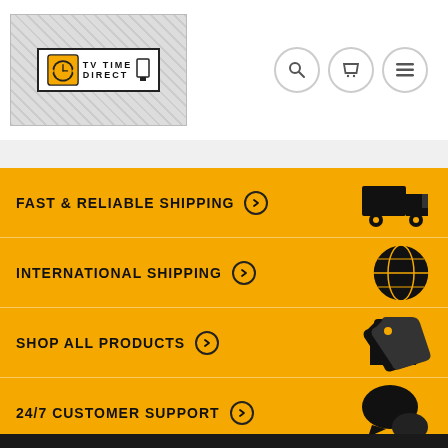[Figure (logo): TV Time Direct logo with clock icon on hatched background]
FAST & RELIABLE SHIPPING
INTERNATIONAL SHIPPING
SHOP ALL PRODUCTS
24/7 CUSTOMER SUPPORT